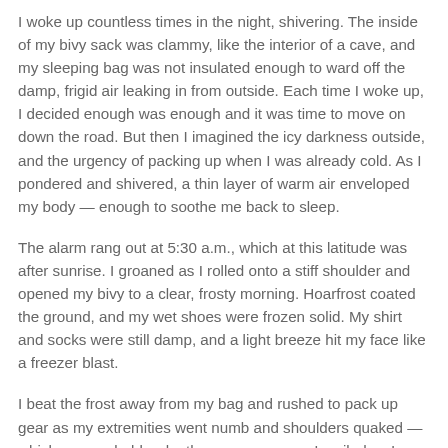I woke up countless times in the night, shivering. The inside of my bivy sack was clammy, like the interior of a cave, and my sleeping bag was not insulated enough to ward off the damp, frigid air leaking in from outside. Each time I woke up, I decided enough was enough and it was time to move on down the road. But then I imagined the icy darkness outside, and the urgency of packing up when I was already cold. As I pondered and shivered, a thin layer of warm air enveloped my body — enough to soothe me back to sleep.
The alarm rang out at 5:30 a.m., which at this latitude was after sunrise. I groaned as I rolled onto a stiff shoulder and opened my bivy to a clear, frosty morning. Hoarfrost coated the ground, and my wet shoes were frozen solid. My shirt and socks were still damp, and a light breeze hit my face like a freezer blast.
I beat the frost away from my bag and rushed to pack up gear as my extremities went numb and shoulders quaked — which was probably why they were so sore. I smiled as I remembered feeling a similar urgency when I went bikepacking earlier this year in Fairbanks, Alaska — when